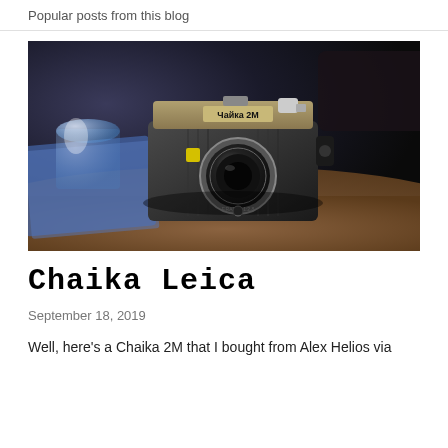Popular posts from this blog
[Figure (photo): A Chaika 2M film camera sitting on a wooden table. The camera is black with silver chrome trim, showing Cyrillic text on the body. A glass of water and puzzle pieces are visible in the background.]
Chaika Leica
September 18, 2019
Well, here's a Chaika 2M that I bought from Alex Helios via